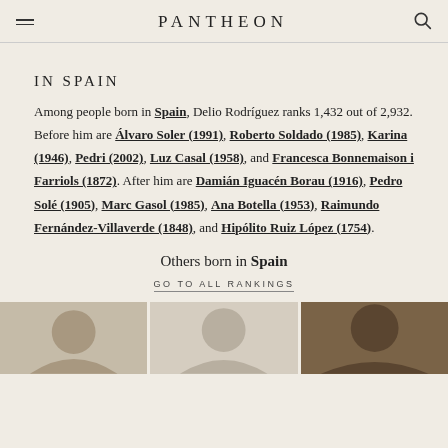PANTHEON
IN SPAIN
Among people born in Spain, Delio Rodríguez ranks 1,432 out of 2,932. Before him are Álvaro Soler (1991), Roberto Soldado (1985), Karina (1946), Pedri (2002), Luz Casal (1958), and Francesca Bonnemaison i Farriols (1872). After him are Damián Iguacén Borau (1916), Pedro Solé (1905), Marc Gasol (1985), Ana Botella (1953), Raimundo Fernández-Villaverde (1848), and Hipólito Ruiz López (1754).
Others born in Spain
GO TO ALL RANKINGS
[Figure (photo): Three thumbnail portrait images of people born in Spain]